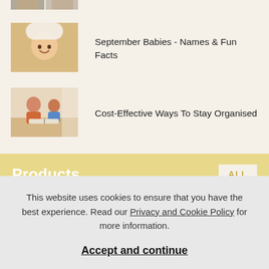[Figure (photo): Partial cropped photo at top of page]
[Figure (photo): Baby smiling under white blanket]
September Babies - Names & Fun Facts
[Figure (photo): Mother and child at table with books]
Cost-Effective Ways To Stay Organised
Products
ALL
[Figure (photo): Product images - bag and shoe partially visible]
This website uses cookies to ensure that you have the best experience. Read our Privacy and Cookie Policy for more information.
Accept and continue